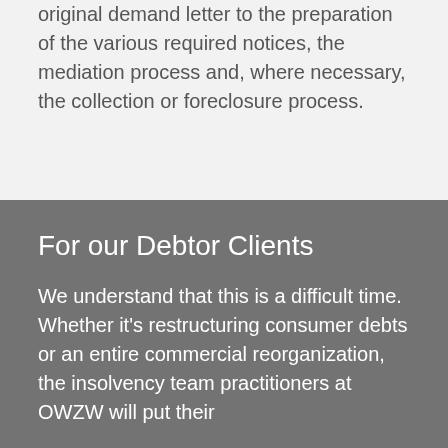original demand letter to the preparation of the various required notices, the mediation process and, where necessary, the collection or foreclosure process.
For our Debtor Clients
We understand that this is a difficult time. Whether it's restructuring consumer debts or an entire commercial reorganization, the insolvency team practitioners at OWZW will put their